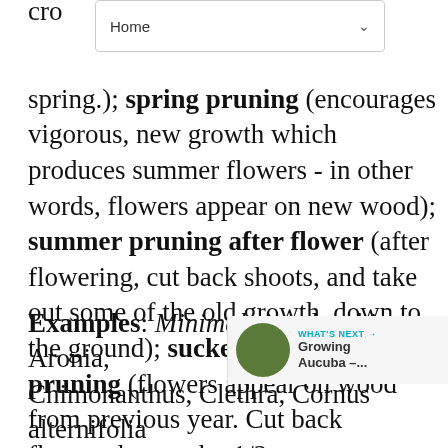Home
cro... spring.); spring pruning (encourages vigorous, new growth which produces summer flowers - in other words, flowers appear on new wood); summer pruning after flower (after flowering, cut back shoots, and take out some of the old growth, down to the ground); suckering habit pruning (flowers appear on wood from previous year. Cut back flowered stems by 1/2, to strong growing new shoots and remove 1/2 of the flowered stems a couple of inches from the ground) Always remove dead, damaged or diseased wood first, no matter what type of pruning you are doing.
Examples: Minimal: Amelanchier, Aronia, Chimonanthus, Clethra, Cornus alternifolia